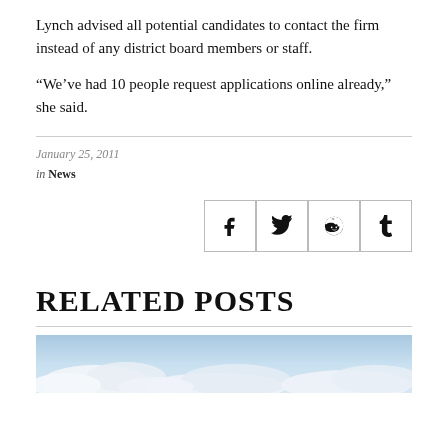Lynch advised all potential candidates to contact the firm instead of any district board members or staff.
“We’ve had 10 people request applications online already,” she said.
January 25, 2011
in News
[Figure (other): Social media share buttons: Facebook, Twitter, Reddit, Tumblr]
RELATED POSTS
[Figure (photo): Blue sky with white clouds, partial view at bottom of page]